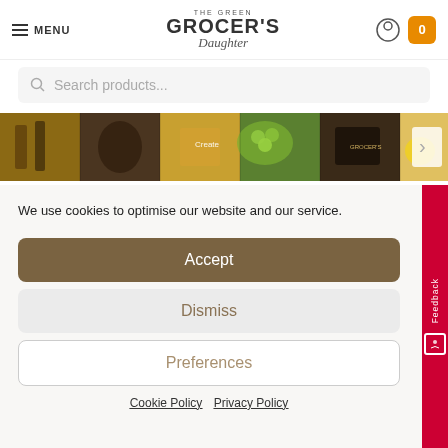MENU | THE GREEN GROCER'S Daughter
Search products...
[Figure (photo): Product image strip showing various grocery items including bottles, produce, and packaged goods with a next arrow on the right]
We use cookies to optimise our website and our service.
Accept
Dismiss
Preferences
Cookie Policy   Privacy Policy